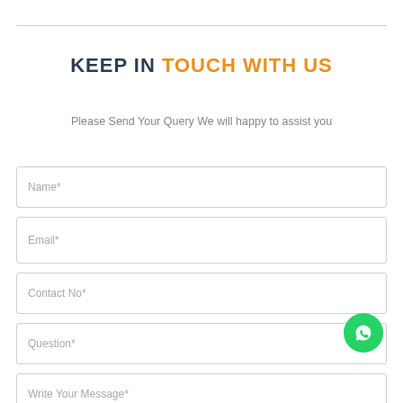KEEP IN TOUCH WITH US
Please Send Your Query We will happy to assist you
Name*
Email*
Contact No*
Question*
Write Your Message*